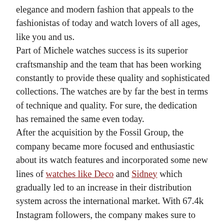elegance and modern fashion that appeals to the fashionistas of today and watch lovers of all ages, like you and us.
Part of Michele watches success is its superior craftsmanship and the team that has been working constantly to provide these quality and sophisticated collections. The watches are by far the best in terms of technique and quality. For sure, the dedication has remained the same even today.
After the acquisition by the Fossil Group, the company became more focused and enthusiastic about its watch features and incorporated some new lines of watches like Deco and Sidney which gradually led to an increase in their distribution system across the international market. With 67.4k Instagram followers, the company makes sure to market their watches well. One can imagine the brand's popularity by the fact that it has a knack for being called 'Insta watches' – that's how elegant they are.
In short, Michele has been very successful among the